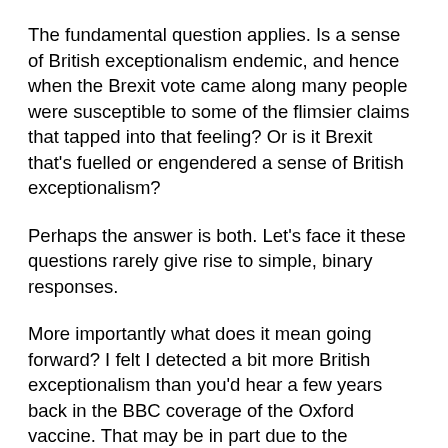The fundamental question applies. Is a sense of British exceptionalism endemic, and hence when the Brexit vote came along many people were susceptible to some of the flimsier claims that tapped into that feeling? Or is it Brexit that's fuelled or engendered a sense of British exceptionalism?
Perhaps the answer is both. Let's face it these questions rarely give rise to simple, binary responses.
More importantly what does it mean going forward? I felt I detected a bit more British exceptionalism than you'd hear a few years back in the BBC coverage of the Oxford vaccine. That may be in part due to the onslaught the corporation has faced around its impartiality. But whatever the reason it matters. If a sense of British exceptionalism is starting to infect